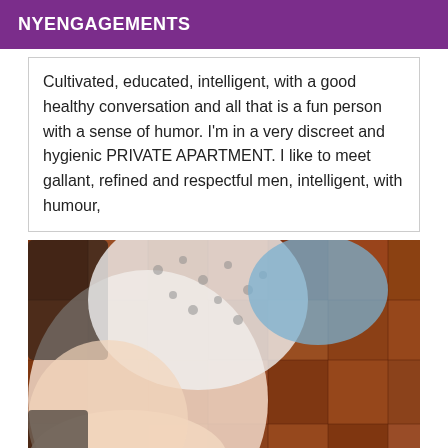NYENGAGEMENTS
Cultivated, educated, intelligent, with a good healthy conversation and all that is a fun person with a sense of humor. I'm in a very discreet and hygienic PRIVATE APARTMENT. I like to meet gallant, refined and respectful men, intelligent, with humour,
[Figure (photo): A photo showing a person's legs and lower body, wearing a polka-dot white garment and black lace lingerie, resting on a wooden parquet floor with reddish-brown tiles visible in the background.]